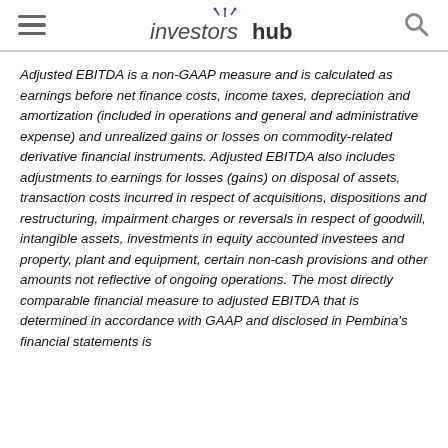investorshub
Adjusted EBITDA is a non-GAAP measure and is calculated as earnings before net finance costs, income taxes, depreciation and amortization (included in operations and general and administrative expense) and unrealized gains or losses on commodity-related derivative financial instruments. Adjusted EBITDA also includes adjustments to earnings for losses (gains) on disposal of assets, transaction costs incurred in respect of acquisitions, dispositions and restructuring, impairment charges or reversals in respect of goodwill, intangible assets, investments in equity accounted investees and property, plant and equipment, certain non-cash provisions and other amounts not reflective of ongoing operations. The most directly comparable financial measure to adjusted EBITDA that is determined in accordance with GAAP and disclosed in Pembina's financial statements is